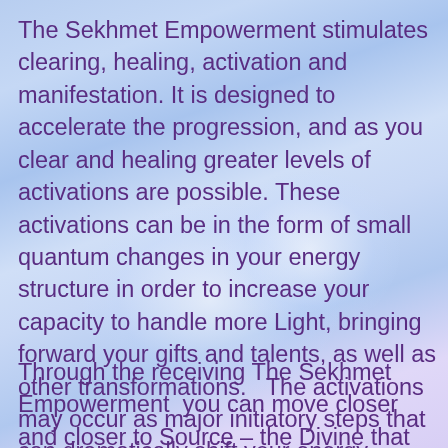The Sekhmet Empowerment stimulates clearing, healing, activation and manifestation. It is designed to accelerate the progression, and as you clear and healing greater levels of activations are possible. These activations can be in the form of small quantum changes in your energy structure in order to increase your capacity to handle more Light, bringing forward your gifts and talents, as well as other transformations.   The activations may occur as major initiatory steps that can dramatically shift your energy structure.
Through the receiving The Sekhmet Empowerment  you can move closer and closer to Source – the Divine that resides within each of us, moving you closer to enlightenment.